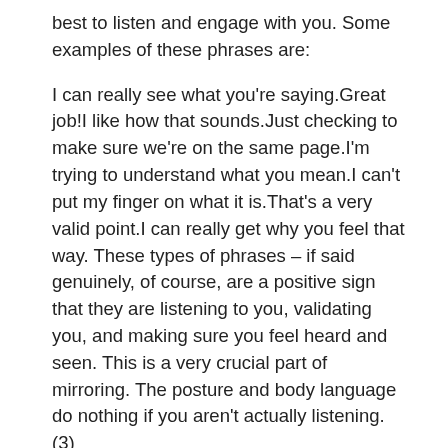best to listen and engage with you. Some examples of these phrases are:
I can really see what you're saying.Great job!I like how that sounds.Just checking to make sure we're on the same page.I'm trying to understand what you mean.I can't put my finger on what it is.That's a very valid point.I can really get why you feel that way. These types of phrases – if said genuinely, of course, are a positive sign that they are listening to you, validating you, and making sure you feel heard and seen. This is a very crucial part of mirroring. The posture and body language do nothing if you aren't actually listening. (3)
Submit
Gestures